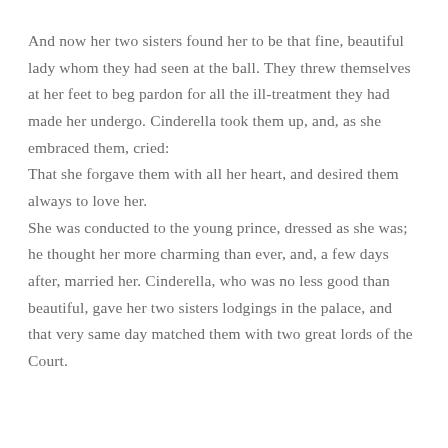And now her two sisters found her to be that fine, beautiful lady whom they had seen at the ball. They threw themselves at her feet to beg pardon for all the ill-treatment they had made her undergo. Cinderella took them up, and, as she embraced them, cried: That she forgave them with all her heart, and desired them always to love her. She was conducted to the young prince, dressed as she was; he thought her more charming than ever, and, a few days after, married her. Cinderella, who was no less good than beautiful, gave her two sisters lodgings in the palace, and that very same day matched them with two great lords of the Court.